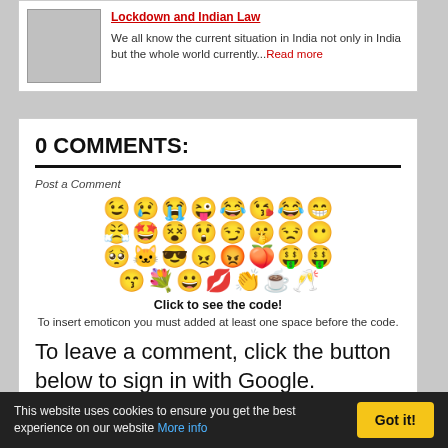[Figure (illustration): Article thumbnail placeholder image (grey box)]
Lockdown and Indian Law
We all know the current situation in India not only in India but the whole world currently...Read more
0 COMMENTS:
Post a Comment
[Figure (illustration): Grid of emoticon/emoji faces in 4 rows]
Click to see the code!
To insert emoticon you must added at least one space before the code.
To leave a comment, click the button below to sign in with Google.
[Figure (illustration): Blue Sign in with Google button]
This website uses cookies to ensure you get the best experience on our website More info
Got it!